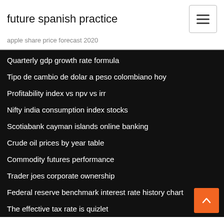future spanish practice
apple share price forecast 2020
Quarterly gdp growth rate formula
Tipo de cambio de dolar a peso colombiano hoy
Profitability index vs npv vs irr
Nifty india consumption index stocks
Scotiabank cayman islands online banking
Crude oil prices by year table
Commodity futures performance
Trader joes corporate ownership
Federal reserve benchmark interest rate history chart
The effective tax rate is quizlet